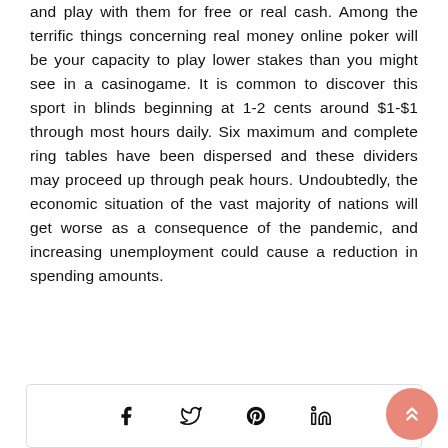and play with them for free or real cash. Among the terrific things concerning real money online poker will be your capacity to play lower stakes than you might see in a casinogame. It is common to discover this sport in blinds beginning at 1-2 cents around $1-$1 through most hours daily. Six maximum and complete ring tables have been dispersed and these dividers may proceed up through peak hours. Undoubtedly, the economic situation of the vast majority of nations will get worse as a consequence of the pandemic, and increasing unemployment could cause a reduction in spending amounts.
[Figure (other): Social share bar with icons for Facebook, Twitter, Pinterest, and LinkedIn, plus a salmon/coral scroll-to-top button in the bottom right corner]